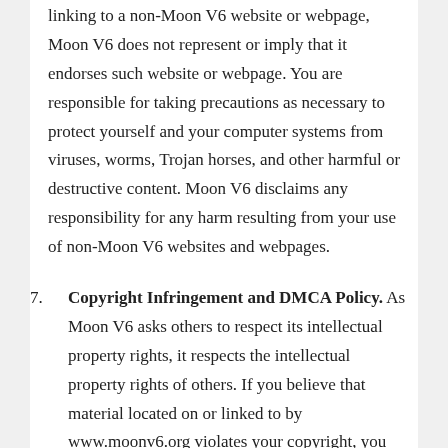linking to a non-Moon V6 website or webpage, Moon V6 does not represent or imply that it endorses such website or webpage. You are responsible for taking precautions as necessary to protect yourself and your computer systems from viruses, worms, Trojan horses, and other harmful or destructive content. Moon V6 disclaims any responsibility for any harm resulting from your use of non-Moon V6 websites and webpages.
7. Copyright Infringement and DMCA Policy. As Moon V6 asks others to respect its intellectual property rights, it respects the intellectual property rights of others. If you believe that material located on or linked to by www.moonv6.org violates your copyright, you are encouraged to notify Moon V6 in accordance with Moon V6 Digital Millennium Copyright Act ("DMCA") Policy. Moon V6 will